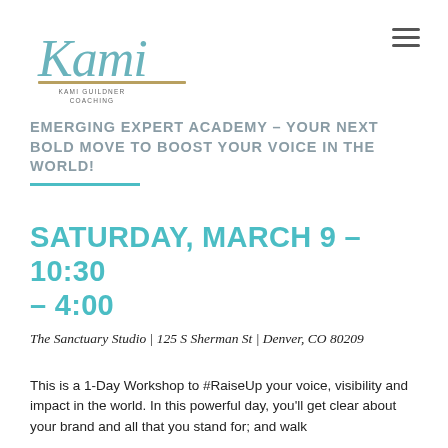[Figure (logo): Kami Guildner Coaching logo — stylized cursive 'Kami' in teal with gold underline, and 'KAMI GUILDNER COACHING' in small caps below]
EMERGING EXPERT ACADEMY – YOUR NEXT BOLD MOVE TO BOOST YOUR VOICE IN THE WORLD!
SATURDAY, MARCH 9 – 10:30 – 4:00
The Sanctuary Studio | 125 S Sherman St | Denver, CO 80209
This is a 1-Day Workshop to #RaiseUp your voice, visibility and impact in the world. In this powerful day, you'll get clear about your brand and all that you stand for; and walk